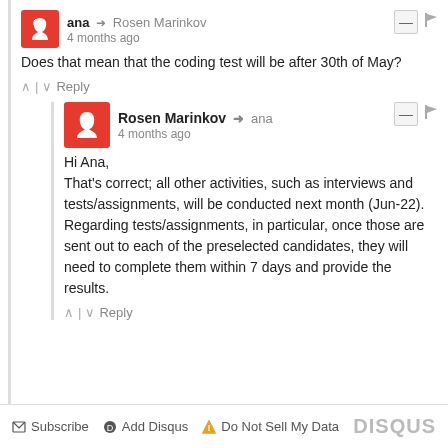ana → Rosen Marinkov
4 months ago
Does that mean that the coding test will be after 30th of May?
↑ | ↓  Reply
Rosen Marinkov → ana
4 months ago
Hi Ana,
That's correct; all other activities, such as interviews and tests/assignments, will be conducted next month (Jun-22).
Regarding tests/assignments, in particular, once those are sent out to each of the preselected candidates, they will need to complete them within 7 days and provide the results.
↑ | ↓  Reply
Subscribe  Add Disqus  Do Not Sell My Data  DISQUS